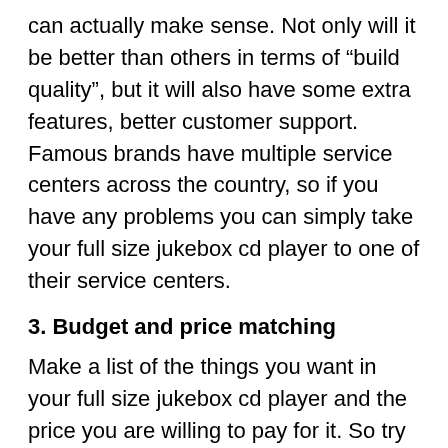can actually make sense. Not only will it be better than others in terms of “build quality”, but it will also have some extra features, better customer support. Famous brands have multiple service centers across the country, so if you have any problems you can simply take your full size jukebox cd player to one of their service centers.
3. Budget and price matching
Make a list of the things you want in your full size jukebox cd player and the price you are willing to pay for it. So try to look for a product in that price range and choose the one that appeals to you the most. One tip we would like to give you is: don't settle for a cheaper product if it doesn't even have a function you need.
4. Warranty Matters!
When you buy a full size jukebox cd player from a well-known brand, you will get a guarantee. Low-cost products also come with warranties, but the claim process could be tougher.